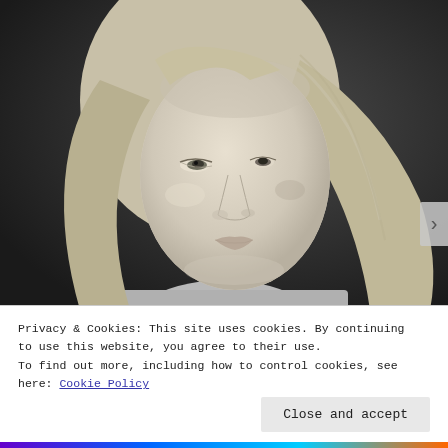[Figure (photo): Black and white portrait photograph of a young woman with long blonde hair, looking slightly to the side with a neutral expression, against a dark background.]
Privacy & Cookies: This site uses cookies. By continuing to use this website, you agree to their use.
To find out more, including how to control cookies, see here: Cookie Policy
Close and accept